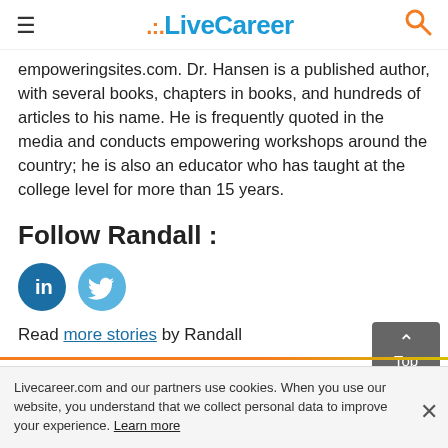LiveCareer
empoweringsites.com. Dr. Hansen is a published author, with several books, chapters in books, and hundreds of articles to his name. He is frequently quoted in the media and conducts empowering workshops around the country; he is also an educator who has taught at the college level for more than 15 years.
Follow Randall :
[Figure (logo): LinkedIn and Twitter social media icon circles]
Read more stories by Randall
Livecareer.com and our partners use cookies. When you use our website, you understand that we collect personal data to improve your experience. Learn more